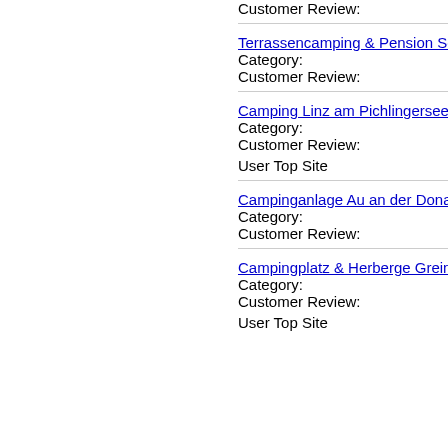Customer Review:
Terrassencamping & Pension Schl...
Category:
Customer Review:
Camping Linz am Pichlingersee
Category:
Customer Review:
User Top Site
Campinganlage Au an der Donau
Category:
Customer Review:
Campingplatz & Herberge Grein
Category:
Customer Review:
User Top Site